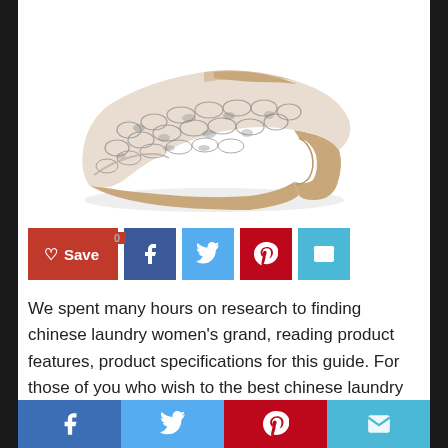[Figure (photo): A women's snakeskin-patterned high heel pump shoe with a stacked wooden heel, shown at an angle on a white background.]
[Figure (infographic): Social sharing button bar: red Save/heart button with badge '0', blue Facebook icon button, light blue Twitter icon button, red Pinterest icon button, light blue email/envelope icon button.]
We spent many hours on research to finding chinese laundry women's grand, reading product features, product specifications for this guide. For those of you who wish to the best chinese laundry women's grand, you
[Figure (infographic): Bottom social sharing bar with Facebook, Twitter, Pinterest, and email icon buttons in blue, light blue, red, and light blue respectively.]